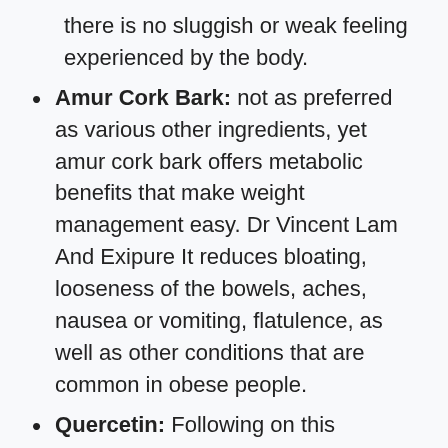there is no sluggish or weak feeling experienced by the body.
Amur Cork Bark: not as preferred as various other ingredients, yet amur cork bark offers metabolic benefits that make weight management easy. Dr Vincent Lam And Exipure It reduces bloating, looseness of the bowels, aches, nausea or vomiting, flatulence, as well as other conditions that are common in obese people.
Quercetin: Following on this checklist is quercetin, an active ingredient offering benefits for high blood pressure, heart health, and vessel health. Some studies also confirm its duty in boosting immunity, postponing aging, as well as invigorating body cells, maintaining them young for a very long time